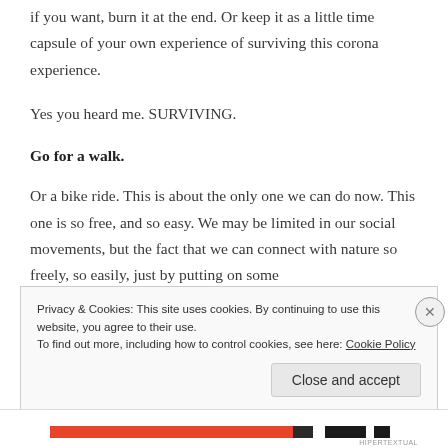if you want, burn it at the end. Or keep it as a little time capsule of your own experience of surviving this corona experience.
Yes you heard me. SURVIVING.
Go for a walk.
Or a bike ride. This is about the only one we can do now. This one is so free, and so easy. We may be limited in our social movements, but the fact that we can connect with nature so freely, so easily, just by putting on some
Privacy & Cookies: This site uses cookies. By continuing to use this website, you agree to their use.
To find out more, including how to control cookies, see here: Cookie Policy
Close and accept